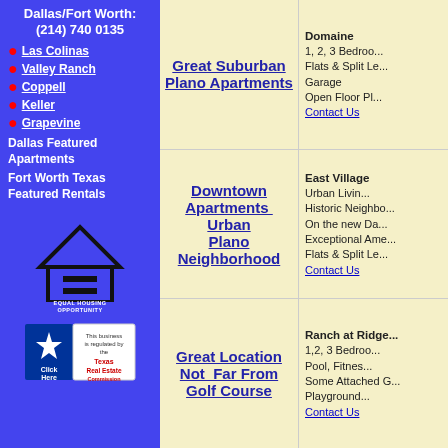Dallas/Fort Worth: (214) 740 0135
Las Colinas
Valley Ranch
Coppell
Keller
Grapevine
Dallas Featured Apartments
Fort Worth Texas Featured Rentals
[Figure (logo): Equal Housing Opportunity logo]
[Figure (logo): Texas Real Estate Commission Click Here badge]
Great Suburban Plano Apartments
Domaine 1, 2, 3 Bedrooms Flats & Split Le... Garage Open Floor Pl... Contact Us
Downtown Apartments Urban Plano Neighborhood
East Village Urban Livin... Historic Neighbo... On the new Da... Exceptional Ame... Flats & Split Le... Contact Us
Great Location Not Far From Golf Course
Ranch at Ridge... 1,2, 3 Bedroom... Pool, Fitnes... Some Attached G... Playground... Contact Us